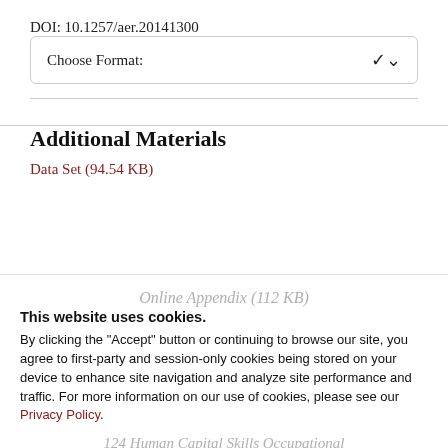DOI: 10.1257/aer.20141300
[Figure (screenshot): Dropdown UI element labeled 'Choose Format:' with a chevron arrow on the right]
Additional Materials
Data Set (94.54 KB)
This website uses cookies.
By clicking the "Accept" button or continuing to browse our site, you agree to first-party and session-only cookies being stored on your device to enhance site navigation and analyze site performance and traffic. For more information on our use of cookies, please see our Privacy Policy.
Accept